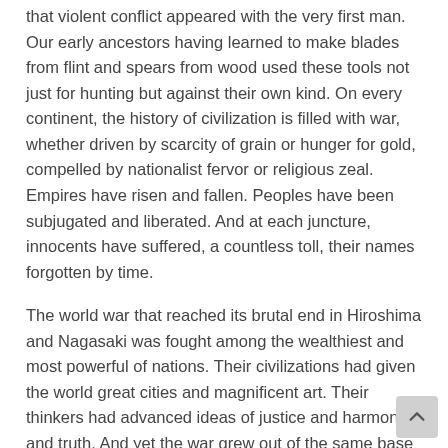that violent conflict appeared with the very first man. Our early ancestors having learned to make blades from flint and spears from wood used these tools not just for hunting but against their own kind. On every continent, the history of civilization is filled with war, whether driven by scarcity of grain or hunger for gold, compelled by nationalist fervor or religious zeal. Empires have risen and fallen. Peoples have been subjugated and liberated. And at each juncture, innocents have suffered, a countless toll, their names forgotten by time.
The world war that reached its brutal end in Hiroshima and Nagasaki was fought among the wealthiest and most powerful of nations. Their civilizations had given the world great cities and magnificent art. Their thinkers had advanced ideas of justice and harmony and truth. And yet the war grew out of the same base instinct for domination or conquest that had caused conflicts among the simplest tribes, an old pattern amplified by new capabilities and without new constraints.